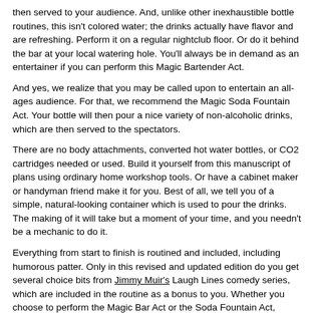then served to your audience. And, unlike other inexhaustible bottle routines, this isn't colored water; the drinks actually have flavor and are refreshing. Perform it on a regular nightclub floor. Or do it behind the bar at your local watering hole. You'll always be in demand as an entertainer if you can perform this Magic Bartender Act.
And yes, we realize that you may be called upon to entertain an all-ages audience. For that, we recommend the Magic Soda Fountain Act. Your bottle will then pour a nice variety of non-alcoholic drinks, which are then served to the spectators.
There are no body attachments, converted hot water bottles, or CO2 cartridges needed or used. Build it yourself from this manuscript of plans using ordinary home workshop tools. Or have a cabinet maker or handyman friend make it for you. Best of all, we tell you of a simple, natural-looking container which is used to pour the drinks. The making of it will take but a moment of your time, and you needn't be a mechanic to do it.
Everything from start to finish is routined and included, including humorous patter. Only in this revised and updated edition do you get several choice bits from Jimmy Muir's Laugh Lines comedy series, which are included in the routine as a bonus to you. Whether you choose to perform the Magic Bar Act or the Soda Fountain Act, you're sure to whet your whistle of even the toughest audience.
1st edition 1945. PDF 17 pages.